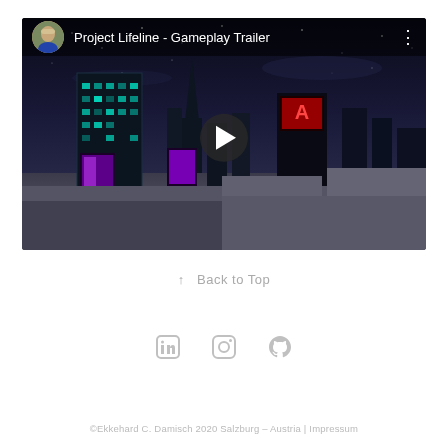[Figure (screenshot): YouTube-style video embed showing 'Project Lifeline - Gameplay Trailer' with a night city cyberpunk scene, avatar icon top-left, video title, three-dot menu, and a play button in the center.]
↑   Back to Top
[Figure (other): Three social media icons: LinkedIn, Instagram, GitHub rendered in light gray.]
©Ekkehard C. Damisch 2020 Salzburg – Austria | Impressum